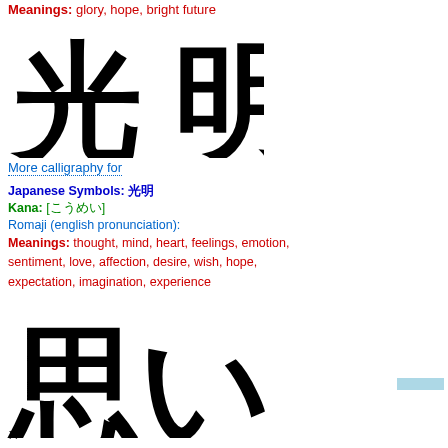Meanings: glory, hope, bright future
[Figure (illustration): Large Japanese calligraphy characters 光明 (koumei) in brush stroke style]
More calligraphy for
Japanese Symbols: 光明
Kana: [こうめい]
Romaji (english pronunciation):
Meanings: thought, mind, heart, feelings, emotion, sentiment, love, affection, desire, wish, hope, expectation, imagination, experience
[Figure (illustration): Large Japanese calligraphy characters 思い (omoi) in brush stroke style, partially cropped]